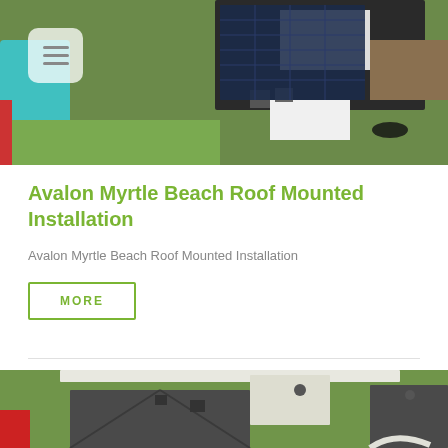[Figure (photo): Aerial drone view of a house roof with solar panels, surrounding green grass, and neighboring rooftops]
Avalon Myrtle Beach Roof Mounted Installation
Avalon Myrtle Beach Roof Mounted Installation
MORE
[Figure (photo): Aerial drone view of a house with gray shingled roof sections, green lawn, and white structures]